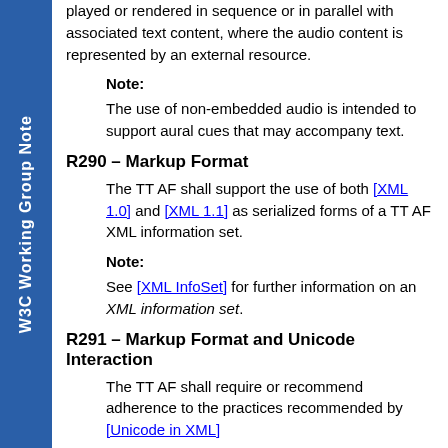played or rendered in sequence or in parallel with associated text content, where the audio content is represented by an external resource.
Note:
The use of non-embedded audio is intended to support aural cues that may accompany text.
R290 – Markup Format
The TT AF shall support the use of both [XML 1.0] and [XML 1.1] as serialized forms of a TT AF XML information set.
Note:
See [XML InfoSet] for further information on an XML information set.
R291 – Markup Format and Unicode Interaction
The TT AF shall require or recommend adherence to the practices recommended by [Unicode in XML].